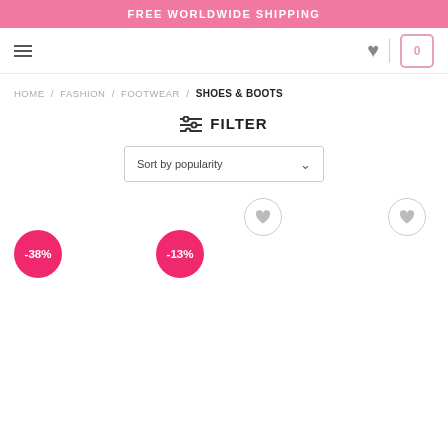FREE WORLDWIDE SHIPPING
HOME / FASHION / FOOTWEAR / SHOES & BOOTS
FILTER
Sort by popularity
[Figure (screenshot): Product listing area showing two product cards with discount badges: -38% on the left card, -13% on the middle card. Each card has a heart/wishlist button.]